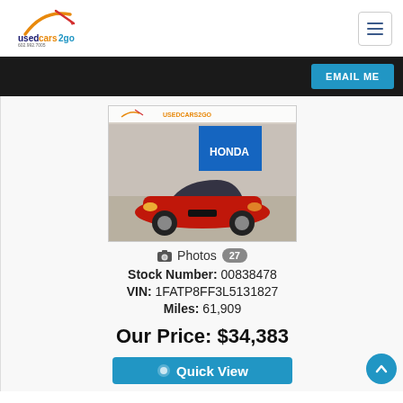[Figure (logo): usedcars2go logo with orange arc and red arrow, blue and dark text, phone number below]
EMAIL ME
[Figure (photo): Red Ford Mustang convertible parked at a Honda dealership lot, usedcars2go watermark at top]
Photos 27
Stock Number: 00838478
VIN: 1FATP8FF3L5131827
Miles: 61,909
Our Price: $34,383
Quick View